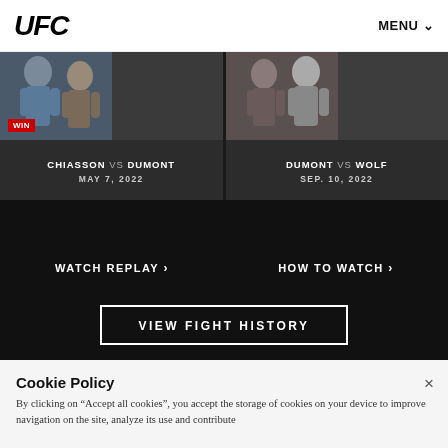UFC | MENU
[Figure (screenshot): Fight card for CHIASSON VS DUMONT on MAY 7, 2022 with WIN badge, showing two female fighters]
[Figure (screenshot): Fight card for DUMONT VS WOLF on SEP. 10, 2022, showing two female fighters]
CHIASSON VS DUMONT
MAY 7, 2022
DUMONT VS WOLF
SEP. 10, 2022
WATCH REPLAY >
HOW TO WATCH >
RECAP >
FOLLOW LIVE >
VIEW FIGHT HISTORY
Cookie Policy
By clicking on "Accept all cookies", you accept the storage of cookies on your device to improve navigation on the site, analyze its use and contribute